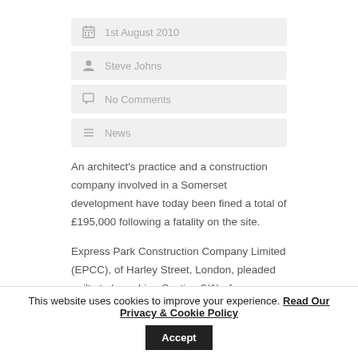1st August 2010
Steve Johns
No Comments
News
An architect's practice and a construction company involved in a Somerset development have today been fined a total of £195,000 following a fatality on the site.
Express Park Construction Company Limited (EPCC), of Harley Street, London, pleaded guilty to breaching Section 3(1) of
This website uses cookies to improve your experience. Read Our Privacy & Cookie Policy